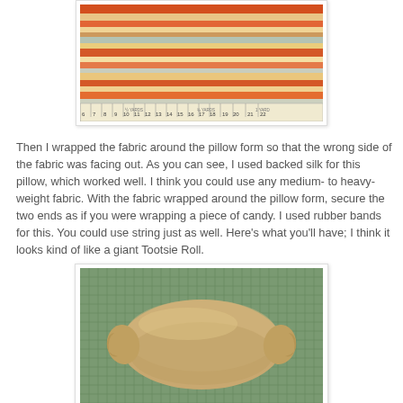[Figure (photo): Striped fabric laid on a cutting mat with a ruler measuring approximately 22 inches, showing orange, red, beige and teal horizontal stripes.]
Then I wrapped the fabric around the pillow form so that the wrong side of the fabric was facing out. As you can see, I used backed silk for this pillow, which worked well. I think you could use any medium- to heavy-weight fabric. With the fabric wrapped around the pillow form, secure the two ends as if you were wrapping a piece of candy. I used rubber bands for this. You could use string just as well. Here's what you'll have; I think it looks kind of like a giant Tootsie Roll.
[Figure (photo): A bolster pillow wrapped in beige backed silk fabric, twisted at both ends like a candy wrapper, resting on a green cutting mat grid.]